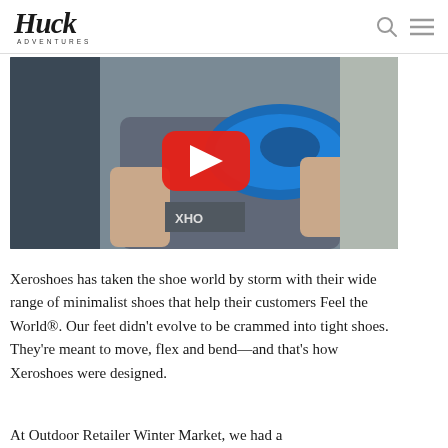Huck Adventures
[Figure (screenshot): Video thumbnail showing a person holding a blue Xeroshoes minimalist shoe, with a YouTube play button overlay in the center.]
Xeroshoes has taken the shoe world by storm with their wide range of minimalist shoes that help their customers Feel the World®. Our feet didn't evolve to be crammed into tight shoes. They're meant to move, flex and bend—and that's how Xeroshoes were designed.
At Outdoor Retailer Winter Market, we had a